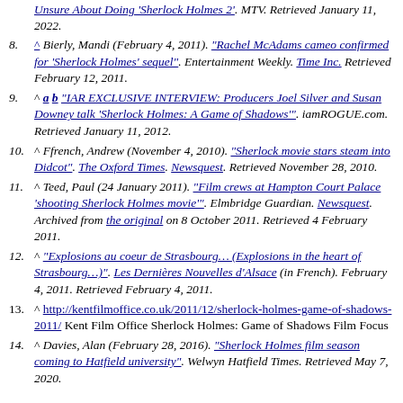8. ^ Bierly, Mandi (February 4, 2011). "Rachel McAdams cameo confirmed for 'Sherlock Holmes' sequel". Entertainment Weekly. Time Inc. Retrieved February 12, 2011.
9. ^ a b "IAR EXCLUSIVE INTERVIEW: Producers Joel Silver and Susan Downey talk 'Sherlock Holmes: A Game of Shadows'". iamROGUE.com. Retrieved January 11, 2012.
10. ^ Ffrench, Andrew (November 4, 2010). "Sherlock movie stars steam into Didcot". The Oxford Times. Newsquest. Retrieved November 28, 2010.
11. ^ Teed, Paul (24 January 2011). "Film crews at Hampton Court Palace 'shooting Sherlock Holmes movie'". Elmbridge Guardian. Newsquest. Archived from the original on 8 October 2011. Retrieved 4 February 2011.
12. ^ "Explosions au coeur de Strasbourg… (Explosions in the heart of Strasbourg…)". Les Dernières Nouvelles d'Alsace (in French). February 4, 2011. Retrieved February 4, 2011.
13. ^ http://kentfilmoffice.co.uk/2011/12/sherlock-holmes-game-of-shadows-2011/ Kent Film Office Sherlock Holmes: Game of Shadows Film Focus
14. ^ Davies, Alan (February 28, 2016). "Sherlock Holmes film season coming to Hatfield university". Welwyn Hatfield Times. Retrieved May 7, 2020.